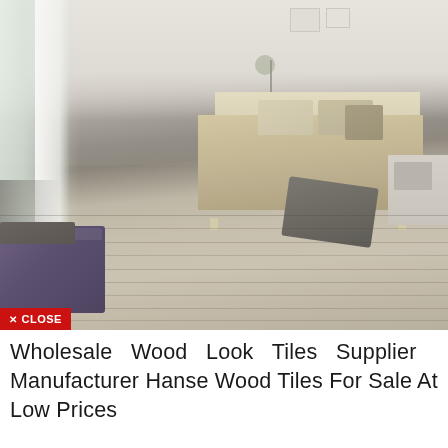[Figure (photo): Bedroom interior photo showing a modern low-profile bed with khaki/tan bedding and pillows, wood-look tile flooring in grey-brown tones, white curtains by a window on the left, a purple/dark ottoman in the foreground left, and a side table on the right. A close button overlay (red background, white text 'X CLOSE') is visible at the bottom-left of the image.]
Wholesale Wood Look Tiles Supplier Manufacturer Hanse Wood Tiles For Sale At Low Prices